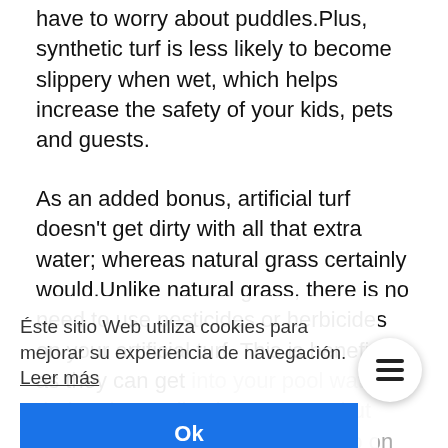have to worry about puddles.Plus, synthetic turf is less likely to become slippery when wet, which helps increase the safety of your kids, pets and guests.
As an added bonus, artificial turf doesn't get dirty with all that extra water; whereas natural grass certainly would.Unlike natural grass, there is no need to use pesticides or herbicides on your artificial turf. This is beneficial, as they can get into your pool water during the application process, but can also harm it, and then end up on the pool. Also, such chemicals can get into the grass by splashing the pool water. Chlorine and other water maintenance chemicals, can kill natural grass. What makes a pool with artificial grass such an attractive option
Éste sitio Web utiliza cookies para mejorar su experiencia de navegación. Leer más
Ok